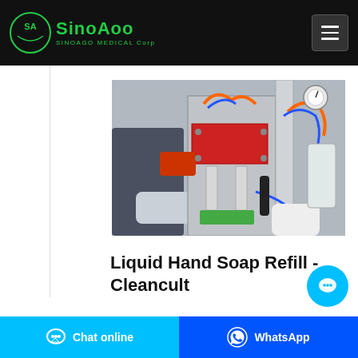SINOAGO MEDICAL Corp
[Figure (photo): A factory worker wearing gloves operating industrial liquid filling machinery with blue and orange pneumatic hoses and metal frame components]
Liquid Hand Soap Refill - Cleancult